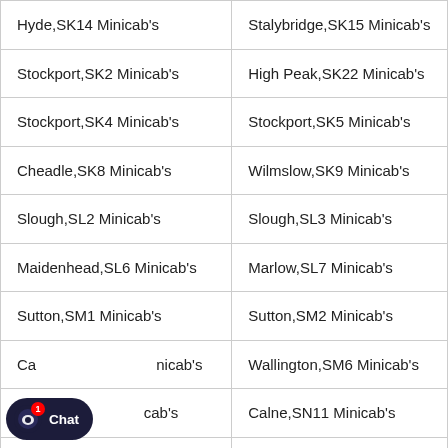| Hyde,SK14 Minicab's | Stalybridge,SK15 Minicab's |
| Stockport,SK2 Minicab's | High Peak,SK22 Minicab's |
| Stockport,SK4 Minicab's | Stockport,SK5 Minicab's |
| Cheadle,SK8 Minicab's | Wilmslow,SK9 Minicab's |
| Slough,SL2 Minicab's | Slough,SL3 Minicab's |
| Maidenhead,SL6 Minicab's | Marlow,SL7 Minicab's |
| Sutton,SM1 Minicab's | Sutton,SM2 Minicab's |
| Ca[rshalton],SM5 Minicab's | Wallington,SM6 Minicab's |
| De[vizes],SN10 Minicab's | Calne,SN11 Minicab's |
| Ch[ippenham],SN14 Minicab's | Chippenham,SN15 Minicab's |
| Sw[indon],SN25 Minicab's | Swindon,SN26 Minicab's |
| [Swindon],SN5 Minicab's | Swindon,SN6 Minicab's |